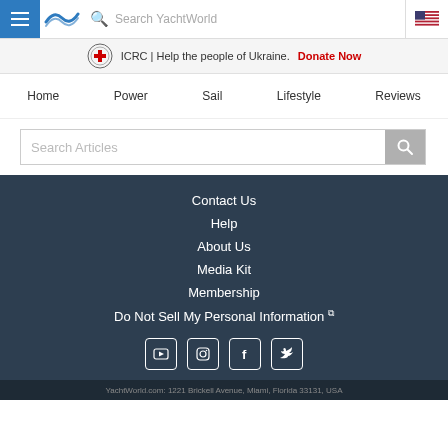Search YachtWorld
ICRC | Help the people of Ukraine. Donate Now
Home
Power
Sail
Lifestyle
Reviews
Search Articles
Contact Us
Help
About Us
Media Kit
Membership
Do Not Sell My Personal Information
YachtWorld.com: 1221 Brickell Avenue, Miami, Florida 33131, USA